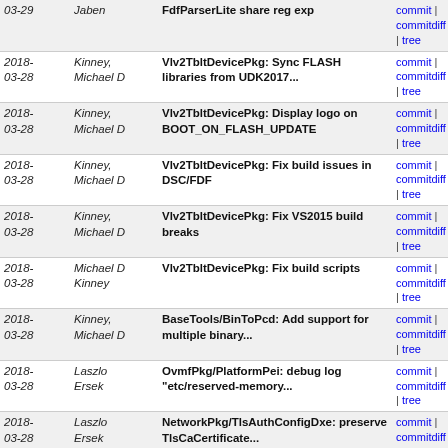| Date | Author | Commit Message | Links |
| --- | --- | --- | --- |
| 2018-03-29 | Jaben | FdfParserLite share reg exp | commit | commitdiff | tree |
| 2018-03-28 | Kinney, Michael D | Vlv2TbltDevicePkg: Sync FLASH libraries from UDK2017... | commit | commitdiff | tree |
| 2018-03-28 | Kinney, Michael D | Vlv2TbltDevicePkg: Display logo on BOOT_ON_FLASH_UPDATE | commit | commitdiff | tree |
| 2018-03-28 | Kinney, Michael D | Vlv2TbltDevicePkg: Fix build issues in DSC/FDF | commit | commitdiff | tree |
| 2018-03-28 | Kinney, Michael D | Vlv2TbltDevicePkg: Fix VS2015 build breaks | commit | commitdiff | tree |
| 2018-03-28 | Michael D Kinney | Vlv2TbltDevicePkg: Fix build scripts | commit | commitdiff | tree |
| 2018-03-28 | Kinney, Michael D | BaseTools/BinToPcd: Add support for multiple binary... | commit | commitdiff | tree |
| 2018-03-28 | Laszlo Ersek | OvmfPkg/PlatformPei: debug log "etc/reserved-memory... | commit | commitdiff | tree |
| 2018-03-28 | Laszlo Ersek | NetworkPkg/TlsAuthConfigDxe: preserve TlsCaCertificate... | commit | commitdiff | tree |
| 2018-03-28 | Laszlo Ersek | NetworkPkg/HttpDxe: sanity-check the TlsCaCertificate... | commit | commitdiff | tree |
| 2018-03-28 | Laszlo Ersek | NetworkPkg/HttpDxe: drop misleading comment / status... | commit | commitdiff | tree |
| 2018-03-28 | Laszlo Ersek | NetworkPkg/HttpDxe: use error handler epilogue in TlsCo... | commit | commitdiff | tree |
| 2018-03-28 | Laszlo Ersek | NetworkPkg/HttpBootDxe: fix typo in DHCPv4 packet parsing | commit | commitdiff | tree |
| 2018-03-28 | Dandan Bi | OvmfPkg:Fix VS2012 build failure | commit | commitdiff | tree |